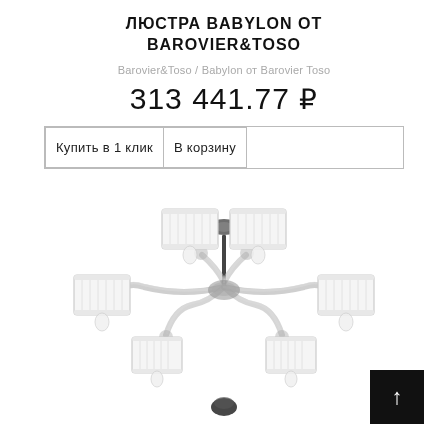ЛЮСТРА BABYLON ОТ BAROVIER&TOSO
Barovier&Toso / Babylon от Barovier Toso
313 441.77 ₽
| Купить в 1 клик | В корзину |
[Figure (photo): Chandelier Babylon by Barovier&Toso — a multi-arm chandelier with clear glass curved arms, chrome-dark metal, and white cylindrical fabric shades, photographed on white background]